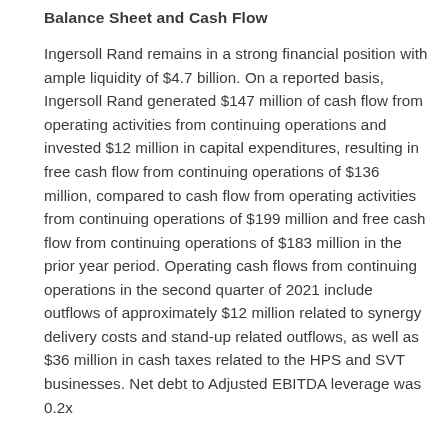Balance Sheet and Cash Flow
Ingersoll Rand remains in a strong financial position with ample liquidity of $4.7 billion. On a reported basis, Ingersoll Rand generated $147 million of cash flow from operating activities from continuing operations and invested $12 million in capital expenditures, resulting in free cash flow from continuing operations of $136 million, compared to cash flow from operating activities from continuing operations of $199 million and free cash flow from continuing operations of $183 million in the prior year period. Operating cash flows from continuing operations in the second quarter of 2021 include outflows of approximately $12 million related to synergy delivery costs and stand-up related outflows, as well as $36 million in cash taxes related to the HPS and SVT businesses. Net debt to Adjusted EBITDA leverage was 0.2x